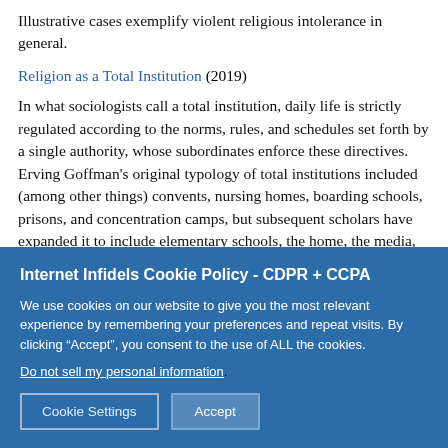Illustrative cases exemplify violent religious intolerance in general.
Religion as a Total Institution (2019)
In what sociologists call a total institution, daily life is strictly regulated according to the norms, rules, and schedules set forth by a single authority, whose subordinates enforce these directives. Erving Goffman's original typology of total institutions included (among other things) convents, nursing homes, boarding schools, prisons, and concentration camps, but subsequent scholars have expanded it to include elementary schools, the home, the media, tourism, universities, and other organizations. In this essay Michael Moore argues that religion
Internet Infidels Cookie Policy - CDPR + CCPA
We use cookies on our website to give you the most relevant experience by remembering your preferences and repeat visits. By clicking “Accept”, you consent to the use of ALL the cookies.
Do not sell my personal information.